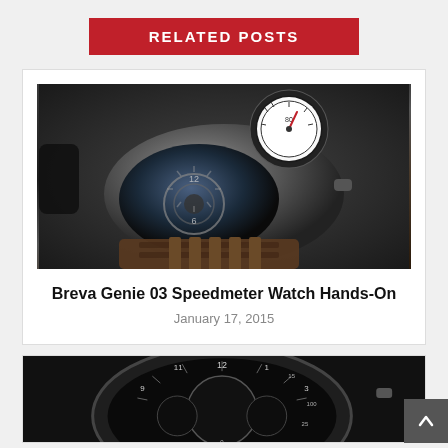RELATED POSTS
[Figure (photo): Close-up photo of Breva Genie 03 Speedmeter watch showing exposed movement and speedometer complication on leather strap against dark background]
Breva Genie 03 Speedmeter Watch Hands-On
January 17, 2015
[Figure (photo): Partial photo of a dark watch with circular dial showing chronograph complications, partially cut off at bottom of page]